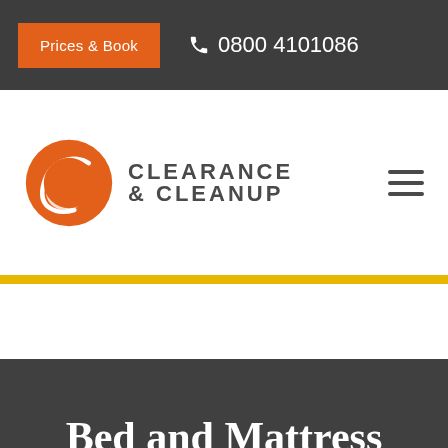Prices & Book  0800 4101086
[Figure (logo): Clearance & Cleanup logo with stylized orange C letter and company name]
Bed and Mattress Collection Linton